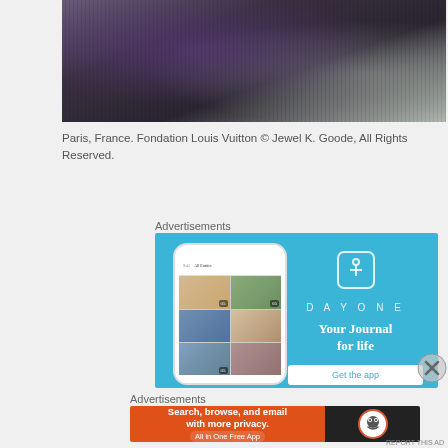[Figure (photo): Partial photo showing dark textured clothing and foliage, cropped at top of page]
Paris, France. Fondation Louis Vuitton © Jewel K. Goode, All Rights Reserved.
Advertisements
[Figure (screenshot): DayOne app advertisement on blue background showing phone mockup with journal app screenshots, DAY ONE logo and tagline 'Your Journal for life', and 'Get the app' button]
[Figure (illustration): Close button (X in circle) for ad]
Advertisements
[Figure (screenshot): DuckDuckGo advertisement: orange section with 'Search, browse, and email with more privacy. All in One Free App' and dark section with DuckDuckGo logo]